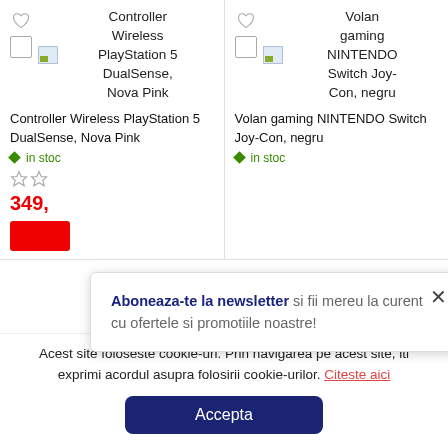[Figure (screenshot): Product card for Controller Wireless PlayStation 5 DualSense, Nova Pink with broken image placeholder]
Controller Wireless PlayStation 5 DualSense, Nova Pink
in stoc
349,
[Figure (screenshot): Product card for Volan gaming NINTENDO Switch Joy-Con, negru with broken image placeholder]
Volan gaming NINTENDO Switch Joy-Con, negru
in stoc
Aboneaza-te la newsletter si fii mereu la curent cu ofertele si promotiile noastre!
Acest site foloseste cookie-uri. Prin navigarea pe acest site, iti exprimi acordul asupra folosirii cookie-urilor. Citeste aici
Accepta